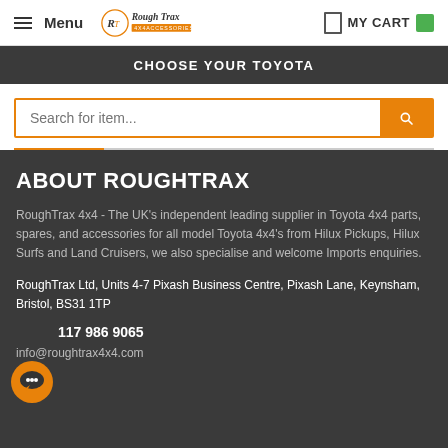Menu | Rough Trax | MY CART
CHOOSE YOUR TOYOTA
Search for item...
ABOUT ROUGHTRAX
RoughTrax 4x4 - The UK's independent leading supplier in Toyota 4x4 parts, spares, and accessories for all model Toyota 4x4's from Hilux Pickups, Hilux Surfs and Land Cruisers, we also specialise and welcome Imports enquiries.
RoughTrax Ltd, Units 4-7 Pixash Business Centre, Pixash Lane, Keynsham, Bristol, BS31 1TP
117 986 9065
info@roughtrax4x4.com